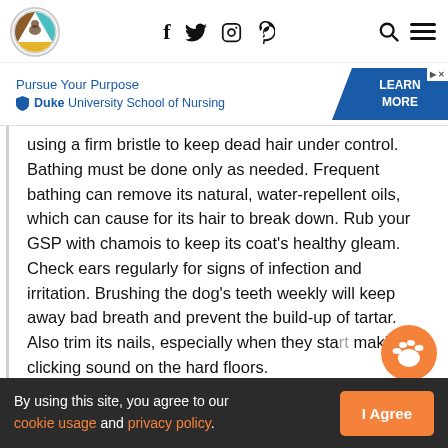[Logo] [Social icons: f, Twitter, Instagram, Pinterest] [Search] [Menu]
[Figure (infographic): Duke University School of Nursing advertisement banner: 'Pursue Your Purpose' with LEARN MORE call-to-action button in blue]
using a firm bristle to keep dead hair under control. Bathing must be done only as needed. Frequent bathing can remove its natural, water-repellent oils, which can cause for its hair to break down. Rub your GSP with chamois to keep its coat's healthy gleam. Check ears regularly for signs of infection and irritation. Brushing the dog's teeth weekly will keep away bad breath and prevent the build-up of tartar. Also trim its nails, especially when they start making a clicking sound on the hard floors.
By using this site, you agree to our cookie usage and privacy policy. [I Agree button]